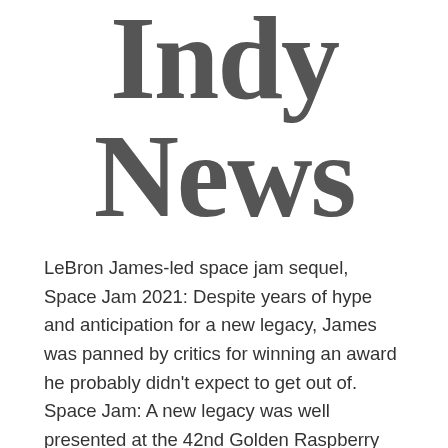Indy News
LeBron James-led space jam sequel, Space Jam 2021: Despite years of hype and anticipation for a new legacy, James was panned by critics for winning an award he probably didn't expect to get out of. Space Jam: A new legacy was well presented at the 42nd Golden Raspberry Awards, winning four nominations and winning three of them. LeBron James won the worst actor award, and the film itself won the award for worst screen combo (LeBron with any Warner Bros. character or product) and worst prequel, rip-off or sequel. Space Jam: A New Legacy was